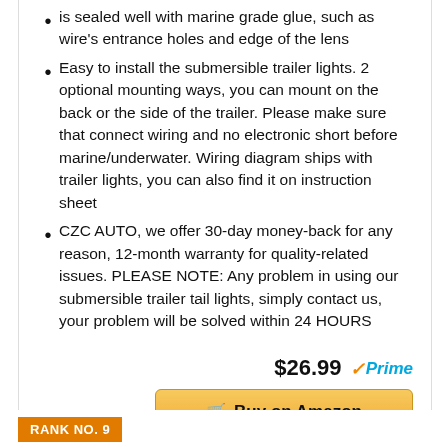is sealed well with marine grade glue, such as wire's entrance holes and edge of the lens
Easy to install the submersible trailer lights. 2 optional mounting ways, you can mount on the back or the side of the trailer. Please make sure that connect wiring and no electronic short before marine/underwater. Wiring diagram ships with trailer lights, you can also find it on instruction sheet
CZC AUTO, we offer 30-day money-back for any reason, 12-month warranty for quality-related issues. PLEASE NOTE: Any problem in using our submersible trailer tail lights, simply contact us, your problem will be solved within 24 HOURS
$26.99 Prime
Buy on Amazon
RANK NO. 9